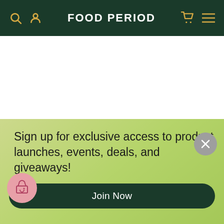FOOD PERIOD
[Figure (screenshot): White content area below navigation bar]
Sign up for exclusive access to product launches, events, deals, and giveaways!
Join Now